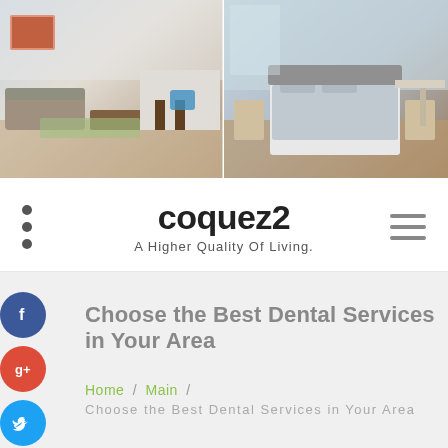[Figure (photo): Two interior room photos side by side: left shows a modern living room/kitchen area with white decor, right shows a bedroom with gray bedding and light blue walls]
coquez2
A Higher Quality Of Living.
Choose the Best Dental Services in Your Area
Home / Main / Choose the Best Dental Services in Your Area